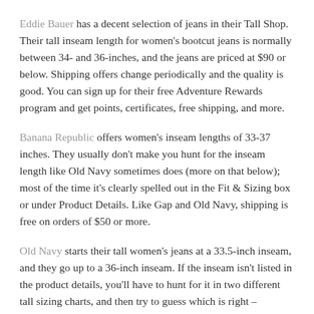Eddie Bauer has a decent selection of jeans in their Tall Shop. Their tall inseam length for women's bootcut jeans is normally between 34- and 36-inches, and the jeans are priced at $90 or below. Shipping offers change periodically and the quality is good. You can sign up for their free Adventure Rewards program and get points, certificates, free shipping, and more.
Banana Republic offers women's inseam lengths of 33-37 inches. They usually don't make you hunt for the inseam length like Old Navy sometimes does (more on that below); most of the time it's clearly spelled out in the Fit & Sizing box or under Product Details. Like Gap and Old Navy, shipping is free on orders of $50 or more.
Old Navy starts their tall women's jeans at a 33.5-inch inseam, and they go up to a 36-inch inseam. If the inseam isn't listed in the product details, you'll have to hunt for it in two different tall sizing charts, and then try to guess which is right – unfortunately, sometimes both are incorrect. They are working to correct this, and it's getting better. Their tall maternity jeans usually have a